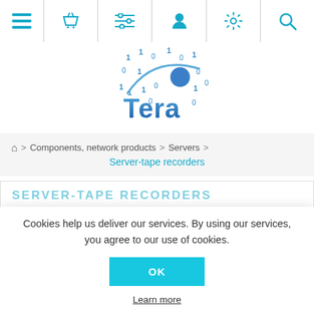[Figure (screenshot): Navigation bar with icons: hamburger menu, shopping basket, filter/list, user profile, settings gear, and search magnifier, all in teal/cyan color]
[Figure (logo): Tera company logo with binary digits (0s and 1s) and a circular swoosh graphic above the word Tera in blue gradient text]
Home > Components, network products > Servers > Server-tape recorders
SERVER-TAPE RECORDERS
Cookies help us deliver our services. By using our services, you agree to our use of cookies.
OK
Learn more